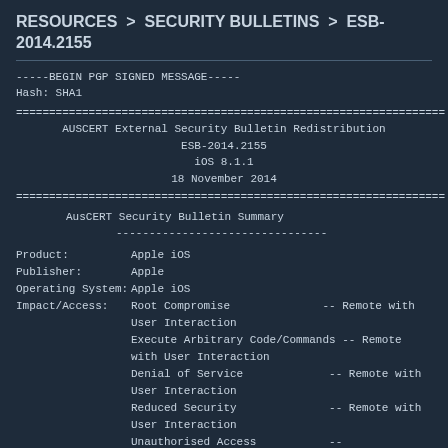RESOURCES > SECURITY BULLETINS > ESB-2014.2155
-----BEGIN PGP SIGNED MESSAGE-----
Hash: SHA1
==============================================================
AUSCERT External Security Bulletin Redistribution

ESB-2014.2155
iOS 8.1.1
18 November 2014
==============================================================
AusCERT Security Bulletin Summary
Product:         Apple iOS
Publisher:       Apple
Operating System: Apple iOS
Impact/Access:   Root Compromise              -- Remote with User Interaction
                 Execute Arbitrary Code/Commands -- Remote with User Interaction
                 Denial of Service             -- Remote with User Interaction
                 Reduced Security              -- Remote with User Interaction
                 Unauthorised Access           -- Console/Physical
Resolution:      Patch/Upgrade